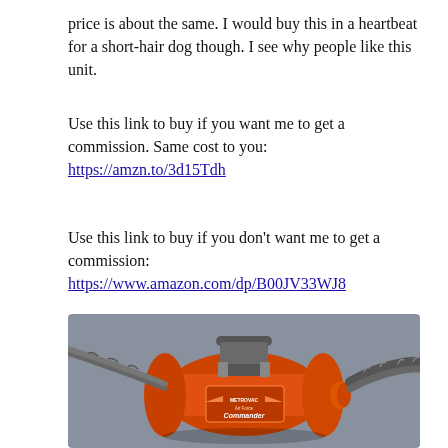price is about the same. I would buy this in a heartbeat for a short-hair dog though. I see why people like this unit.
Use this link to buy if you want me to get a commission. Same cost to you:
https://amzn.to/3d15Tdh
Use this link to buy if you don't want me to get a commission:
https://www.amazon.com/dp/B00JV33WJ8
[Figure (photo): Orange Metro Vac Air Force Commander pet dryer/blower unit with a gray handle on top, silver flexible hose on the right side, and the brand logo on the cylindrical orange body. Set against a gray background.]